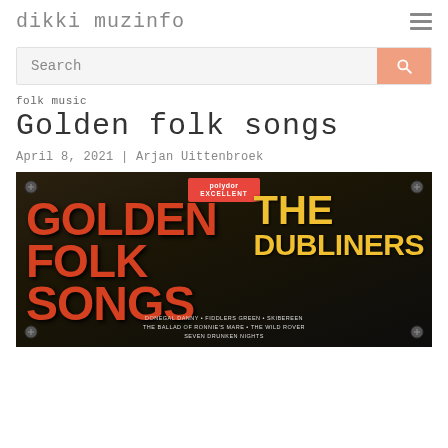dikki muzinfo
Search
folk music
Golden folk songs
April 8, 2021 | Arjan Uittenbroek
[Figure (photo): Album cover for Golden Folk Songs by The Dubliners on Polydor Excellent label. Shows bold red text reading GOLDEN FOLK SONGS on the left and yellow text THE DUBLINERS on the right. Bottom lists tracks: DONEGAL DANNY, FIDDLERS GREEN, SKIBEREEN, THE BALLAD OF RONNIE'S MARE, THE WILD ROVER, SEVEN DRUNKEN NIGHTS.]